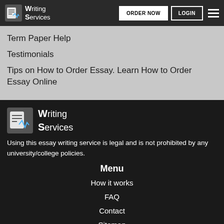Writing Services — ORDER NOW | LOGIN
Term Paper Help
Testimonials
Tips on How to Order Essay. Learn How to Order Essay Online
[Figure (logo): Writing Services logo in white on dark footer background]
Using this essay writing service is legal and is not prohibited by any university/college policies.
Menu
How it works
FAQ
Contact
Sitemap
We accept
[Figure (infographic): Payment method logos: American Express, Discover, MasterCard, PayPal, Visa]